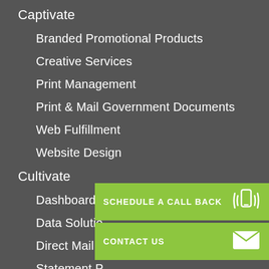Captivate
Branded Promotional Products
Creative Services
Print Management
Print & Mail Government Documents
Web Fulfillment
Website Design
Cultivate
Dashboard Access Management
Data Solutio[ns]
Direct Mail
Statement P[rocessing]
Resonate
SCHEDULE A CALL BACK
CONTACT US